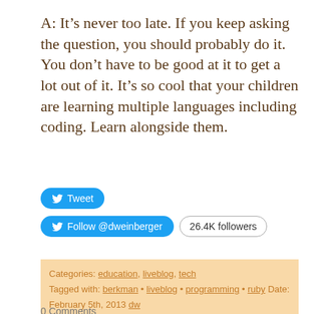A: It’s never too late. If you keep asking the question, you should probably do it. You don’t have to be good at it to get a lot out of it. It’s so cool that your children are learning multiple languages including coding. Learn alongside them.
[Figure (other): Tweet button and Follow @dweinberger button with 26.4K followers badge]
Categories: education, liveblog, tech Tagged with: berkman • liveblog • programming • ruby Date: February 5th, 2013 dw
0 Comments